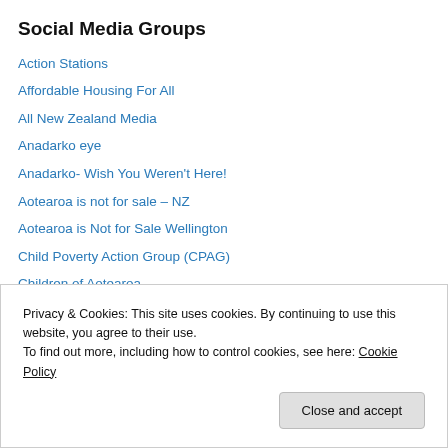Social Media Groups
Action Stations
Affordable Housing For All
All New Zealand Media
Anadarko eye
Anadarko- Wish You Weren't Here!
Aotearoa is not for sale – NZ
Aotearoa is Not for Sale Wellington
Child Poverty Action Group (CPAG)
Children of Aotearoa
Coal Action Network Aotearoa
Community Campaign for Food in Schools – NZ
DiscussioNZ
Housing NZ Tenants Forum
Privacy & Cookies: This site uses cookies. By continuing to use this website, you agree to their use. To find out more, including how to control cookies, see here: Cookie Policy